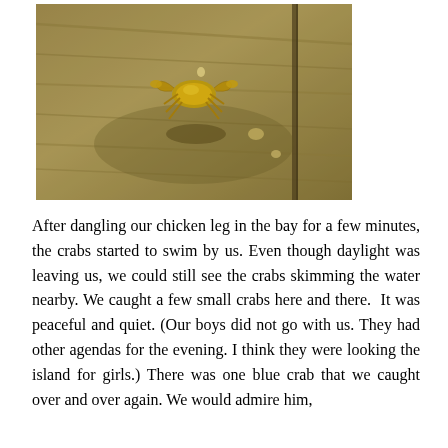[Figure (photo): A small crab sitting on a wet wooden dock surface, photographed from above with a warm yellowish-brown toned filter. The wood grain is visible and there are water droplets around the crab.]
After dangling our chicken leg in the bay for a few minutes, the crabs started to swim by us. Even though daylight was leaving us, we could still see the crabs skimming the water nearby. We caught a few small crabs here and there.  It was peaceful and quiet. (Our boys did not go with us. They had other agendas for the evening. I think they were looking the island for girls.) There was one blue crab that we caught over and over again. We would admire him,